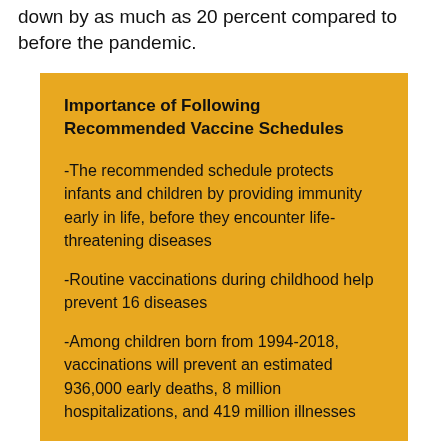down by as much as 20 percent compared to before the pandemic.
Importance of Following Recommended Vaccine Schedules
-The recommended schedule protects infants and children by providing immunity early in life, before they encounter life-threatening diseases
-Routine vaccinations during childhood help prevent 16 diseases
-Among children born from 1994-2018, vaccinations will prevent an estimated 936,000 early deaths, 8 million hospitalizations, and 419 million illnesses